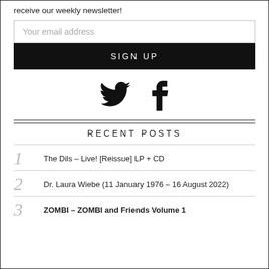receive our weekly newsletter!
Your email address
SIGN UP
[Figure (illustration): Twitter bird icon and Facebook 'f' icon, both in black]
RECENT POSTS
1 The Dils – Live! [Reissue] LP + CD
2 Dr. Laura Wiebe (11 January 1976 – 16 August 2022)
3 ZOMBI – ZOMBI and Friends Volume 1